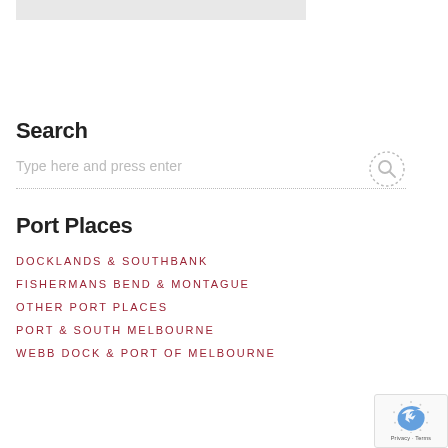[Figure (other): Partial gray image at top of page]
Search
Type here and press enter
Port Places
DOCKLANDS & SOUTHBANK
FISHERMANS BEND & MONTAGUE
OTHER PORT PLACES
PORT & SOUTH MELBOURNE
WEBB DOCK & PORT OF MELBOURNE